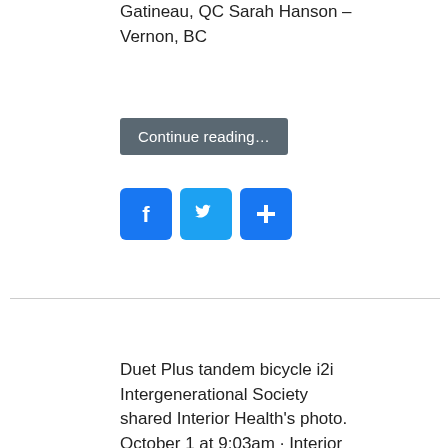Gatineau, QC Sarah Hanson – Vernon, BC
Continue reading…
[Figure (other): Social sharing buttons: Facebook, Twitter, and a plus/share button]
Duet Plus tandem bicycle i2i Intergenerational Society shared Interior Health's photo. October 1 at 9:03am · Interior Health September 30 at 10:46am Residents at Mount